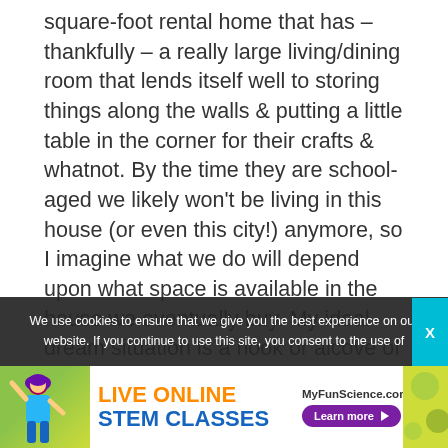square-foot rental home that has – thankfully – a really large living/dining room that lends itself well to storing things along the walls & putting a little table in the corner for their crafts & whatnot. By the time they are school-aged we likely won't be living in this house (or even this city!) anymore, so I imagine what we do will depend upon what space is available in the house we eventually buy. My ideal dream situation is a nook or alcove of some sort off the living room or dining room that is large enough for a table and storage, but
We use cookies to ensure that we give you the best experience on our website. If you continue to use this site, you consent to the use of
[Figure (infographic): Advertisement banner for MyFunScience.com: Live Online STEM Classes with a Learn more button and decorative illustration of a girl with purple hair.]